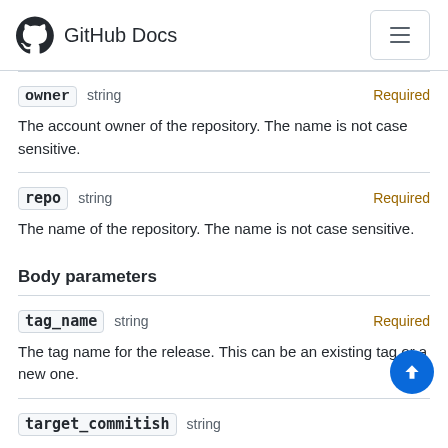GitHub Docs
owner  string  Required
The account owner of the repository. The name is not case sensitive.
repo  string  Required
The name of the repository. The name is not case sensitive.
Body parameters
tag_name  string  Required
The tag name for the release. This can be an existing tag or a new one.
target_commitish  string